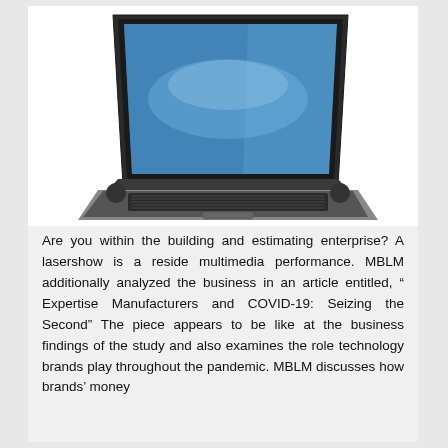[Figure (photo): A photograph of a dark grey/black laptop computer with its screen open showing a blue desktop background. The keyboard and touchpad are visible. The laptop is photographed at an angle from above-front.]
Are you within the building and estimating enterprise? A lasershow is a reside multimedia performance. MBLM additionally analyzed the business in an article entitled, " Expertise Manufacturers and COVID-19: Seizing the Second" The piece appears to be like at the business findings of the study and also examines the role technology brands play throughout the pandemic. MBLM discusses how brands' money